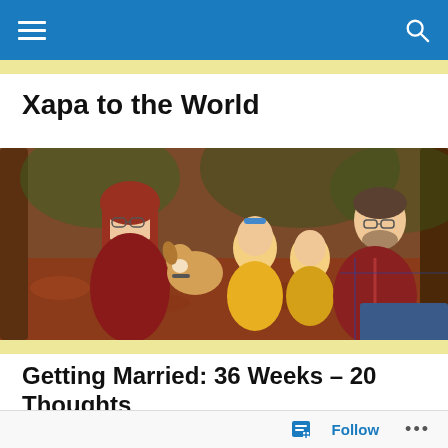Navigation bar with hamburger menu and search icon
Xapa to the World
[Figure (photo): Family photo: a woman with glasses and red hair, a man with a beard in a plaid shirt, two young children in yellow outfits, and a beagle dog, sitting together outdoors on a forest floor with autumn leaves.]
Getting Married: 36 Weeks – 20 Thoughts
There's another blog that I follow that I enjoy quite a bit.
Follow   •••